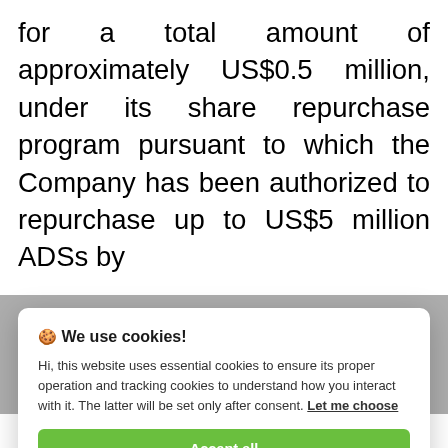for a total amount of approximately US$0.5 million, under its share repurchase program pursuant to which the Company has been authorized to repurchase up to US$5 million ADSs by
[Figure (screenshot): Cookie consent modal dialog with title 'We use cookies!', body text about essential and tracking cookies, 'Let me choose' link, 'Accept all' green button, and 'Reject all' light grey button.]
reflects the Company's current and